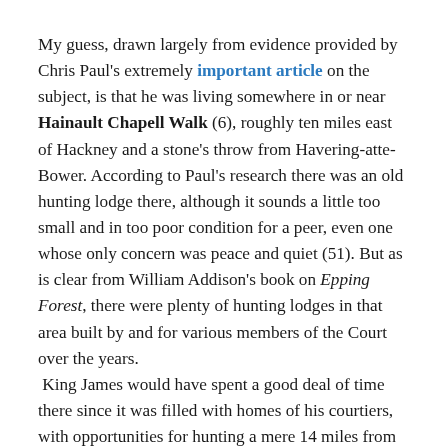My guess, drawn largely from evidence provided by Chris Paul's extremely important article on the subject, is that he was living somewhere in or near Hainault Chapell Walk (6), roughly ten miles east of Hackney and a stone's throw from Havering-atte-Bower. According to Paul's research there was an old hunting lodge there, although it sounds a little too small and in too poor condition for a peer, even one whose only concern was peace and quiet (51). But as is clear from William Addison's book on Epping Forest, there were plenty of hunting lodges in that area built by and for various members of the Court over the years. King James would have spent a good deal of time there since it was filled with homes of his courtiers, with opportunities for hunting a mere 14 miles from Greenwich Palace.
King James, Oxford's patron